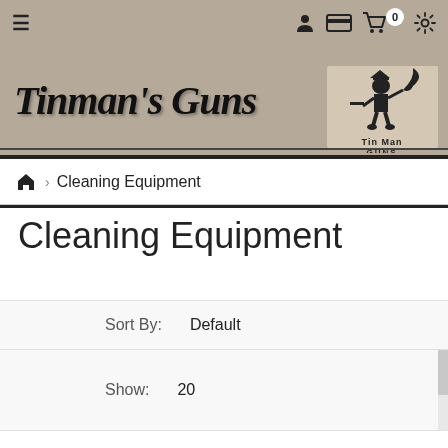Tinman's Guns — navigation header with hamburger menu, user icon, card icon, cart (0), settings icon
[Figure (logo): Tinman's Guns logo with bold italic serif text and Tin Man GUNS emblem illustration on tan/khaki background]
🏠 > Cleaning Equipment
Cleaning Equipment
Sort By: Default
Show: 20